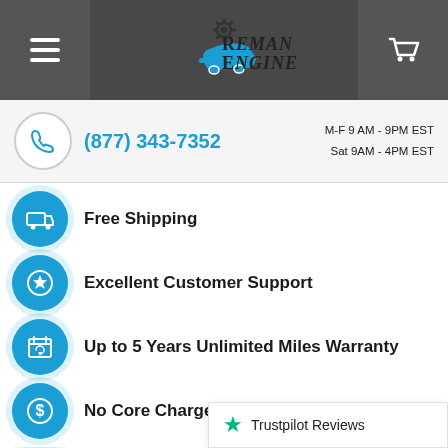Reman Engine — navigation header with menu, logo, and cart
(877) 343-7352 | M-F 9 AM - 9PM EST | Sat 9AM - 4PM EST
Free Shipping
Excellent Customer Support
Up to 5 Years Unlimited Miles Warranty
No Core Charge for 30 Days
Speak With A Specialist Now
Trustpilot Reviews